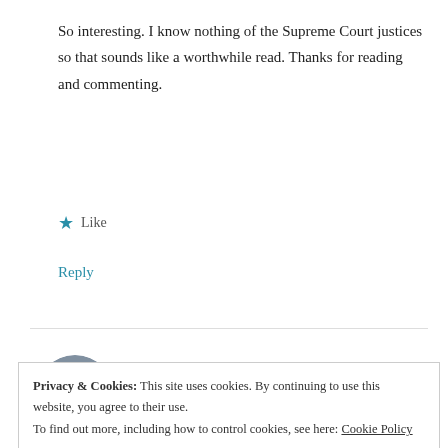So interesting. I know nothing of the Supreme Court justices so that sounds like a worthwhile read. Thanks for reading and commenting.
★ Like
Reply
Devon Begg
MAY 31, 2011 AT 9:29 PM
Privacy & Cookies: This site uses cookies. By continuing to use this website, you agree to their use.
To find out more, including how to control cookies, see here: Cookie Policy
flop on your couch and browse through those books lol.